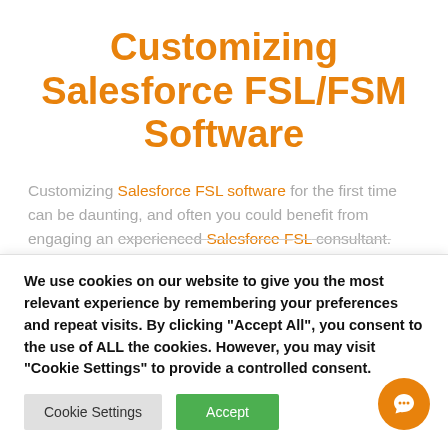Customizing Salesforce FSL/FSM Software
Customizing Salesforce FSL software for the first time can be daunting, and often you could benefit from engaging an experienced Salesforce FSL consultant. Here
We use cookies on our website to give you the most relevant experience by remembering your preferences and repeat visits. By clicking “Accept All”, you consent to the use of ALL the cookies. However, you may visit “Cookie Settings” to provide a controlled consent.